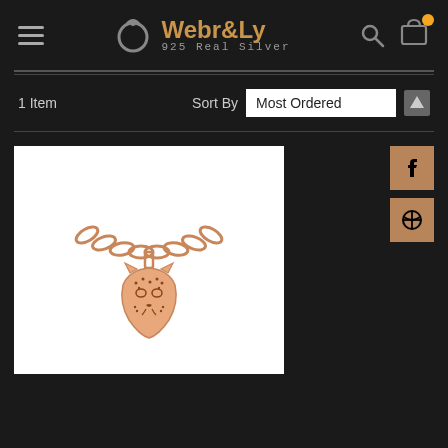[Figure (screenshot): Webr&Ly 925 Real Silver e-commerce website header with logo, hamburger menu, search icon, and cart icon with orange notification dot]
Sort By   Most Ordered
1 Item
[Figure (photo): Rose gold chain necklace with a leopard/cheetah face charm pendant, displayed on white background]